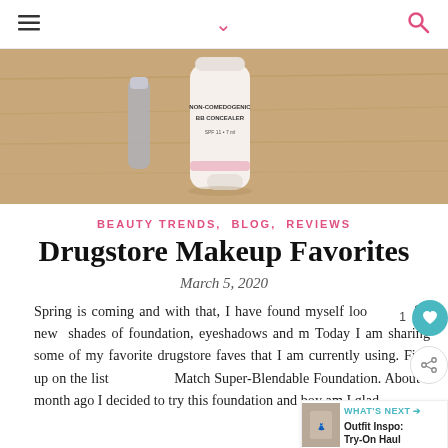≡  ∨  🔍
[Figure (photo): A white tube of concealer (non-comedogenic BB concealer) lying on a wooden surface, with a metallic cosmetic item partially visible on the left.]
BEAUTY TRENDS, BLOG, REVIEWS
Drugstore Makeup Favorites
March 5, 2020
Spring is coming and with that, I have found myself loo for new shades of foundation, eyeshadows and m Today I am sharing some of my favorite drugstore faves that I am currently using. First up on the list Match Super-Blendable Foundation. About a month ago I decided to try this foundation and boy am I glad...